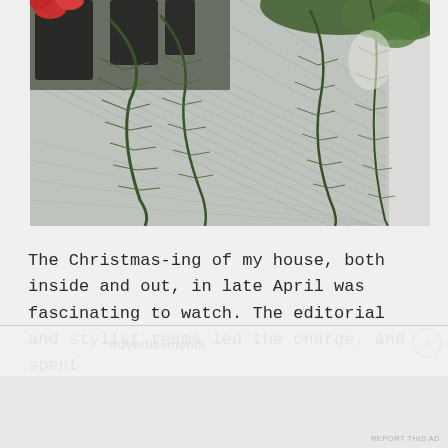[Figure (photo): Outdoor deck/patio scene with long pine branches hanging down over gray wooden planks. Dark plant pots visible in upper left with red flowers. White wall visible on right edge. Photo taken from above looking down at diagonal deck boards.]
The Christmas-ing of my house, both inside and out, in late April was fascinating to watch. The editorial and stylist teams led the charge, and spent
Advertisements